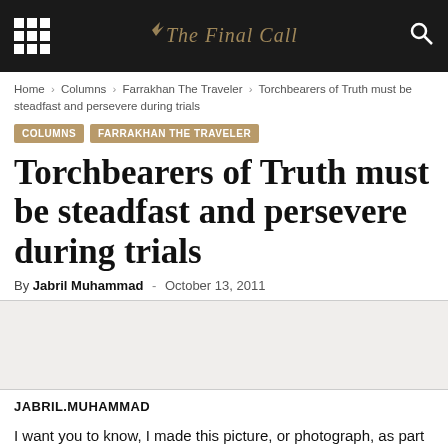The Final Call
Home › Columns › Farrakhan The Traveler › Torchbearers of Truth must be steadfast and persevere during trials
COLUMNS  FARRAKHAN THE TRAVELER
Torchbearers of Truth must be steadfast and persevere during trials
By Jabril Muhammad - October 13, 2011
[Figure (photo): Photo placeholder for article image]
JABRIL.MUHAMMAD
I want you to know, I made this picture, or photograph, as part of my article. In 1954